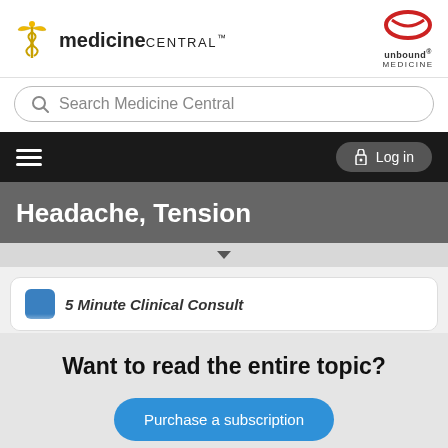[Figure (logo): Medicine Central logo with caduceus symbol on left and Unbound Medicine logo on right]
Search Medicine Central
Log in
Headache, Tension
5 Minute Clinical Consult
Want to read the entire topic?
Purchase a subscription
I'm already a subscriber
Browse sample topics